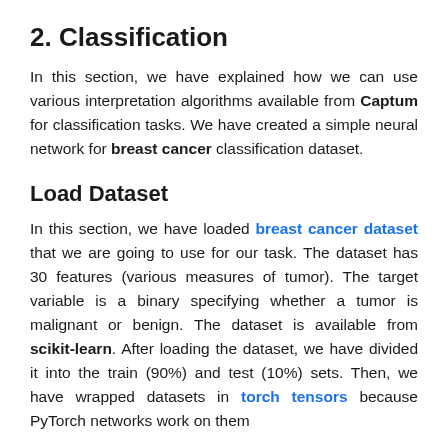2. Classification
In this section, we have explained how we can use various interpretation algorithms available from Captum for classification tasks. We have created a simple neural network for breast cancer classification dataset.
Load Dataset
In this section, we have loaded breast cancer dataset that we are going to use for our task. The dataset has 30 features (various measures of tumor). The target variable is a binary specifying whether a tumor is malignant or benign. The dataset is available from scikit-learn. After loading the dataset, we have divided it into the train (90%) and test (10%) sets. Then, we have wrapped datasets in torch tensors because PyTorch networks work on them